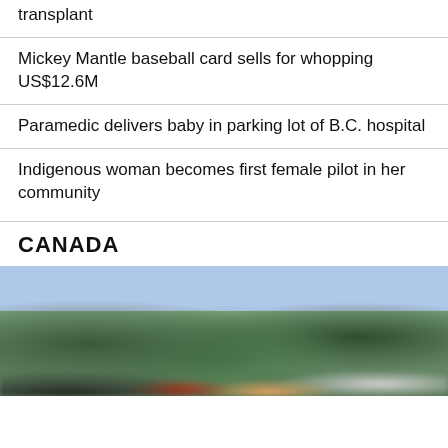transplant
Mickey Mantle baseball card sells for whopping US$12.6M
Paramedic delivers baby in parking lot of B.C. hospital
Indigenous woman becomes first female pilot in her community
CANADA
[Figure (photo): Blurry outdoor scene with trees in background, vehicles and people visible in foreground, overcast sky]